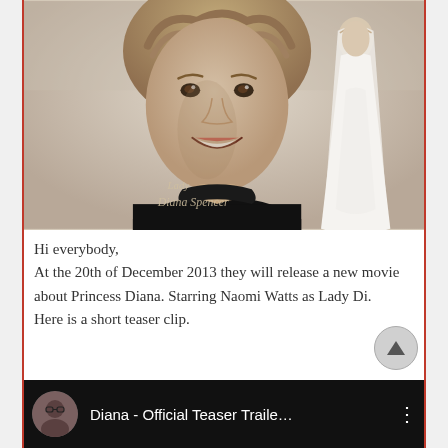[Figure (photo): Sepia-toned composite image: large close-up portrait of Princess Diana (short curly blonde hair, black turtleneck, smiling) in the foreground left, with a smaller illustration of a woman in a white wedding gown on the right. A cursive signature reading 'Lady Diana Spencer' is overlaid on the lower center of the image.]
Hi everybody,
At the 20th of December 2013 they will release a new movie about Princess Diana. Starring Naomi Watts as Lady Di.
Here is a short teaser clip.
[Figure (screenshot): YouTube video thumbnail/embed bar with black background. Left side shows a small circular avatar photo of a woman with dark hair and glasses. Next to it the title text reads 'Diana - Official Teaser Traile…' in white. A vertical three-dot menu icon appears on the right.]